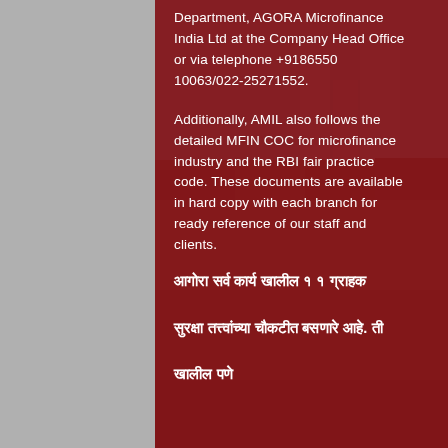Department, AGORA Microfinance India Ltd at the Company Head Office or via telephone +9186550 10063/022-25271552.
Additionally, AMIL also follows the detailed MFIN COC for microfinance industry and the RBI fair practice code. These documents are available in hard copy with each branch for ready reference of our staff and clients.
आगोरा सर्व कार्य खालील १ १ ग्राहक सुरक्षा तत्त्वांच्या चौकटीत बसणारे आहे. ती खालील पणे
[Figure (photo): Urban slum/market area background photo visible on the right side of the page, with buildings, market stalls, and colorful goods visible.]